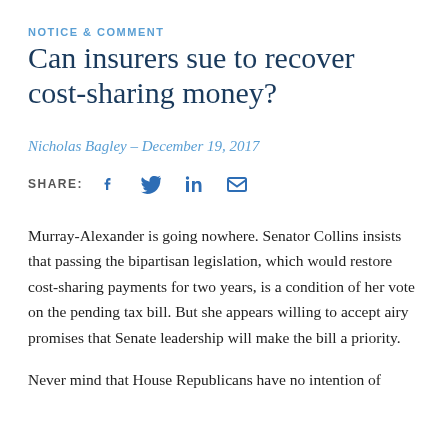NOTICE & COMMENT
Can insurers sue to recover cost-sharing money?
Nicholas Bagley – December 19, 2017
SHARE: [social icons: Facebook, Twitter, LinkedIn, Email]
Murray-Alexander is going nowhere. Senator Collins insists that passing the bipartisan legislation, which would restore cost-sharing payments for two years, is a condition of her vote on the pending tax bill. But she appears willing to accept airy promises that Senate leadership will make the bill a priority.
Never mind that House Republicans have no intention of